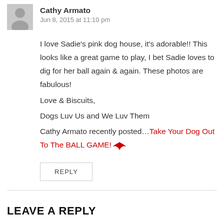Cathy Armato
Jun 8, 2015 at 11:10 pm
I love Sadie's pink dog house, it's adorable!! This looks like a great game to play, I bet Sadie loves to dig for her ball again & again. These photos are fabulous!
Love & Biscuits,
Dogs Luv Us and We Luv Them
Cathy Armato recently posted…Take Your Dog Out To The BALL GAME!🦅
REPLY
LEAVE A REPLY
Your email address will not be published. Required